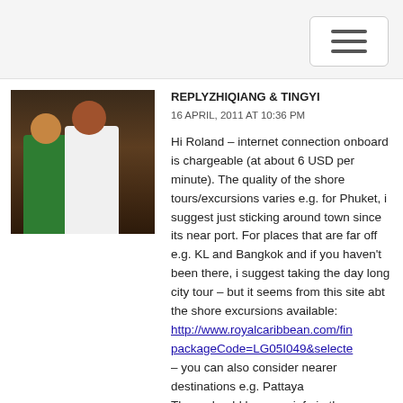[Figure (photo): Photo of two people (a woman in a green shirt and a man in a white shirt) standing together indoors against a dark background.]
REPLYZHIQIANG & TINGYI
16 APRIL, 2011 AT 10:36 PM

Hi Roland – internet connection onboard is chargeable (at about 6 USD per minute). The quality of the shore tours/excursions varies e.g. for Phuket, i suggest just sticking around town since its near port. For places that are far off e.g. KL and Bangkok and if you haven't been there, i suggest taking the day long city tour – but it seems from this site abt the shore excursions available:
http://www.royalcaribbean.com/fin
packageCode=LG05I049&selecte
– you can also consider nearer destinations e.g. Pattaya
There should be more info in the pre-departure cruise booklet they